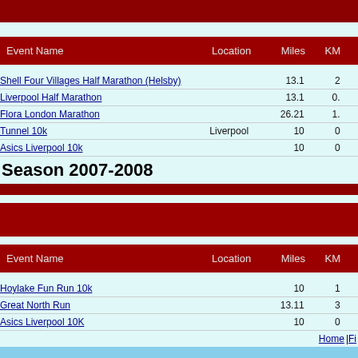| Event Name | Location | Miles | KM |
| --- | --- | --- | --- |
| Shell Four Villages Half Marathon (Helsby) |  | 13.1 | 2? |
| Liverpool Half Marathon |  | 13.1 | 0. |
| Flora London Marathon |  | 26.21 | 1. |
| Tunnel 10k | Liverpool | 10 | 0 |
| Asics Liverpool 10k |  | 10 | 0 |
Season 2007-2008
| Event Name | Location | Miles | KM |
| --- | --- | --- | --- |
| Hoylake Fun Run 10k |  | 10 | 1 |
| Great North Run |  | 13.11 | 3 |
| Asics Liverpool 10K |  | 10 | 0 |
Home | Fi